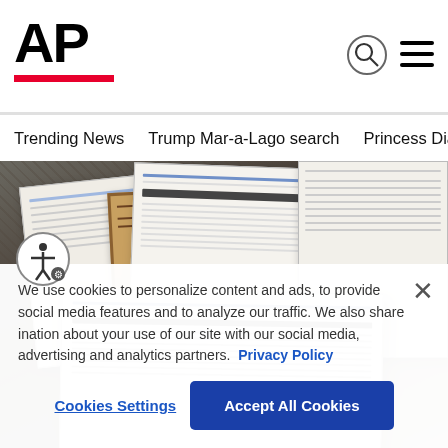[Figure (logo): AP (Associated Press) logo with bold black AP text and red underline bar]
Trending News   Trump Mar-a-Lago search   Princess Diana's dea
[Figure (photo): Photo of court documents spread on a dark patterned surface, showing legal text about The Privilege Review Team]
We use cookies to personalize content and ads, to provide social media features and to analyze our traffic. We also share information about your use of our site with our social media, advertising and analytics partners. Privacy Policy
Cookies Settings
Accept All Cookies